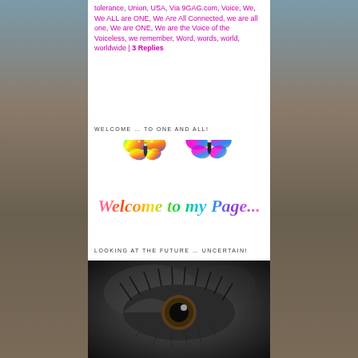tolerance, Union, USA, Via 9GAG.com, Voice, We, We ALL are ONE, We Are All Connected, we are all one, We are ONE, We are the Voice of the Voiceless, we remember, Word, words, world, worldwide | 3 Replies
WELCOME … TO ONE AND ALL!
[Figure (illustration): Colorful rainbow-text 'Welcome to my Page...' graphic with two sparkly butterfly illustrations above the text, rendered in rainbow gradient colors]
LOOKING AT THE FUTURE … UNCERTAIN!
[Figure (photo): Black and white close-up photo of a human eye with dramatic eyelashes, showing a tearful or contemplative expression]